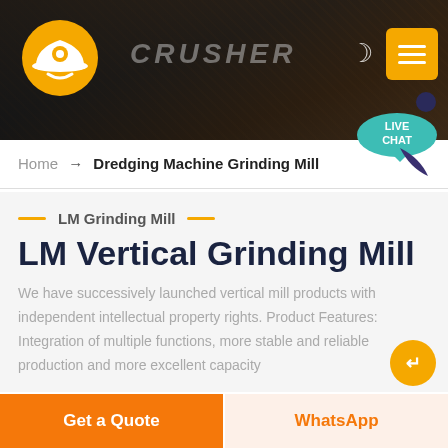[Figure (screenshot): Website header banner showing dark mining/industrial background with orange logo, CRUSHER text, moon icon, and orange menu button]
Home → Dredging Machine Grinding Mill
LM Vertical Grinding Mill
LM Grinding Mill
We have successively launched vertical mill products with independent intellectual property rights. Product Features: Integration of multiple functions, more stable and reliable production and more excellent capacity
Get a Quote
WhatsApp